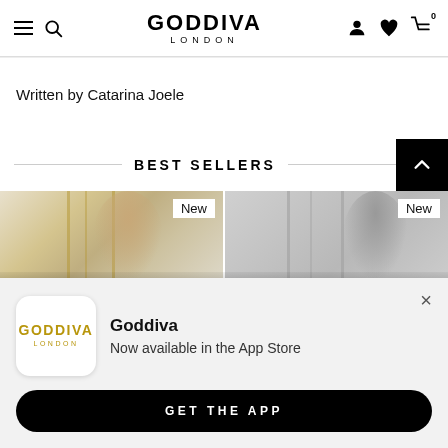GODDIVA LONDON
Written by Catarina Joele
BEST SELLERS
[Figure (photo): Two product/model images side by side with 'New' badges, showing women in a fashion context against a gold/grey studio background]
[Figure (screenshot): App store popup overlay: Goddiva London logo, text 'Goddiva - Now available in the App Store', and a GET THE APP button]